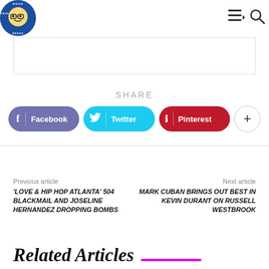[Figure (logo): Movie TV Tech Geeks circular logo with blue background]
SHARE
[Figure (infographic): Social share buttons: Facebook (purple), Twitter (cyan), Pinterest (red), and a plus button]
Previous article
'LOVE & HIP HOP ATLANTA' 504 BLACKMAIL AND JOSELINE HERNANDEZ DROPPING BOMBS
Next article
MARK CUBAN BRINGS OUT BEST IN KEVIN DURANT ON RUSSELL WESTBROOK
Related Articles